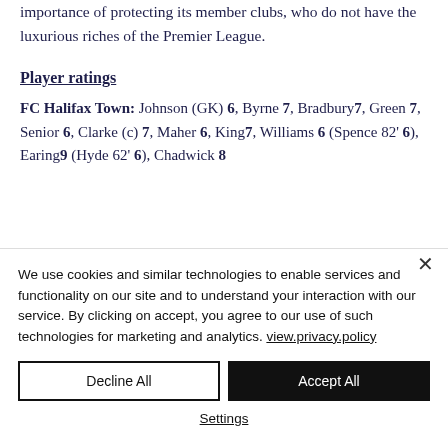importance of protecting its member clubs, who do not have the luxurious riches of the Premier League.
Player ratings
FC Halifax Town: Johnson (GK) 6, Byrne 7, Bradbury7, Green 7, Senior 6, Clarke (c) 7, Maher 6, King7, Williams 6 (Spence 82' 6), Earing9 (Hyde 62' 6), Chadwick 8
We use cookies and similar technologies to enable services and functionality on our site and to understand your interaction with our service. By clicking on accept, you agree to our use of such technologies for marketing and analytics. view.privacy.policy